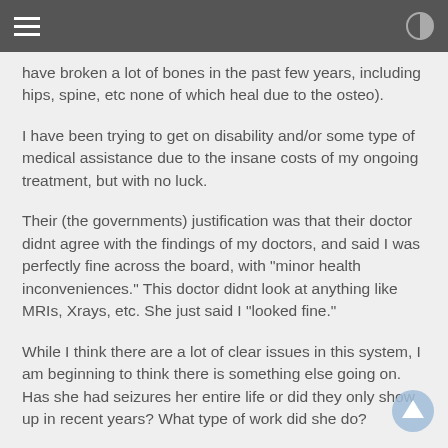have broken a lot of bones in the past few years, including hips, spine, etc none of which heal due to the osteo).
I have been trying to get on disability and/or some type of medical assistance due to the insane costs of my ongoing treatment, but with no luck.
Their (the governments) justification was that their doctor didnt agree with the findings of my doctors, and said I was perfectly fine across the board, with "minor health inconveniences." This doctor didnt look at anything like MRIs, Xrays, etc. She just said I "looked fine."
While I think there are a lot of clear issues in this system, I am beginning to think there is something else going on. Has she had seizures her entire life or did they only show up in recent years? What type of work did she do?
I am sorry for your loss.
edit on 19-9-2013 by Serdgiam because: (no reason given)